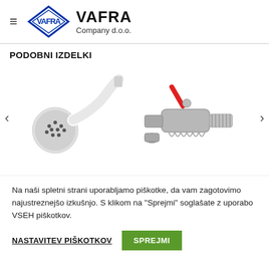[Figure (logo): VAFRA Company d.o.o. logo with diamond-shaped emblem containing stylized letters and brand name in bold]
PODOBNI IZDELKI
[Figure (photo): White handheld shower head on left side and chrome/silver ball valve with red lever handle on right side, product carousel with left and right navigation arrows]
Na naši spletni strani uporabljamo piškotke, da vam zagotovimo najustreznejšo izkušnjo. S klikom na "Sprejmi" soglašate z uporabo VSEH piškotkov.
NASTAVITEV PIŠKOTKOV
SPREJMI